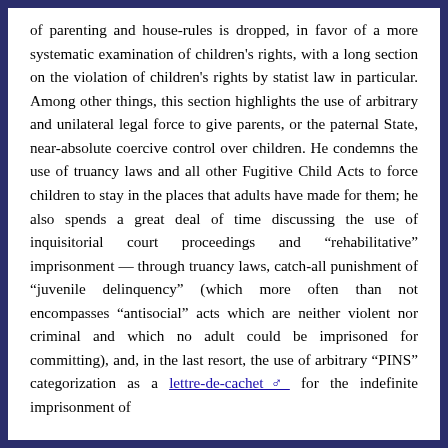of parenting and house-rules is dropped, in favor of a more systematic examination of children's rights, with a long section on the violation of children's rights by statist law in particular. Among other things, this section highlights the use of arbitrary and unilateral legal force to give parents, or the paternal State, near-absolute coercive control over children. He condemns the use of truancy laws and all other Fugitive Child Acts to force children to stay in the places that adults have made for them; he also spends a great deal of time discussing the use of inquisitorial court proceedings and “rehabilitative” imprisonment — through truancy laws, catch-all punishment of “juvenile delinquency” (which more often than not encompasses “antisocial” acts which are neither violent nor criminal and which no adult could be imprisoned for committing), and, in the last resort, the use of arbitrary “PINS” categorization as a lettre-de-cachet♂ for the indefinite imprisonment of